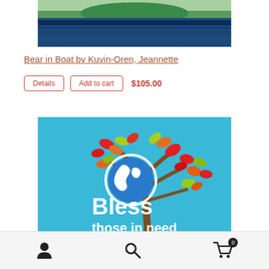[Figure (photo): Top portion of a painting showing a green boat on dark blue water, cropped at top]
Bear in Boat by Kuvin-Oren, Jeannette
Details  Add to cart  $105.00
[Figure (illustration): Painting of a colorful autumn tree with red, orange, yellow and green leaves, a globe in the center, and white text reading 'Bless those in need of healing']
User icon  Search icon  Cart icon (0)